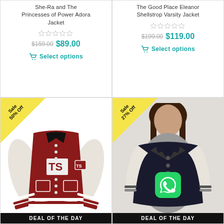She-Ra and The Princesses of Power Adora Jacket
$159.00 $89.00
Select options
The Good Place Eleanor Shellstrop Varsity Jacket
$199.00 $119.00
Select options
[Figure (photo): Red and white varsity jacket with TS lettering, Sale 50% Off badge, DEAL OF THE DAY banner]
[Figure (photo): Black and white varsity jacket worn by female model, Sale 27% Off badge, WhatsApp icon overlay, DEAL OF THE DAY banner]